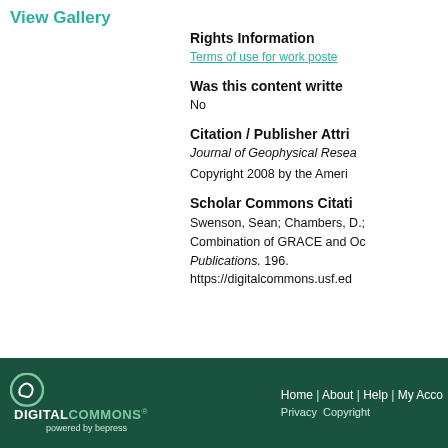View Gallery
Rights Information
Terms of use for work posted in Scholar Commons.
Was this content written or contributed by USF faculty?
No
Citation / Publisher Attribution
Journal of Geophysical Research
Copyright 2008 by the American Geophysical Union.
Scholar Commons Citation
Swenson, Sean; Chambers, D.; and Wahr, J., "Estimating Geocenter Variations from a Combination of GRACE and Ocean Model Output" (2008). Marine Science Faculty Publications. 196.
https://digitalcommons.usf.edu/msc_facpub/196
DIGITAL COMMONS powered by bepress | Home | About | Help | My Account | Accessibility Statement | Privacy | Copyright